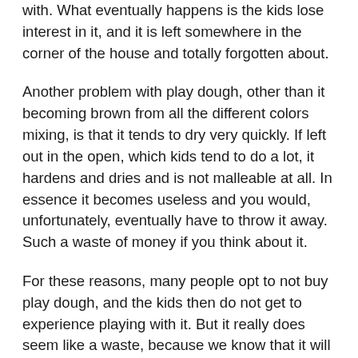with. What eventually happens is the kids lose interest in it, and it is left somewhere in the corner of the house and totally forgotten about.
Another problem with play dough, other than it becoming brown from all the different colors mixing, is that it tends to dry very quickly. If left out in the open, which kids tend to do a lot, it hardens and dries and is not malleable at all. In essence it becomes useless and you would, unfortunately, eventually have to throw it away. Such a waste of money if you think about it.
For these reasons, many people opt to not buy play dough, and the kids then do not get to experience playing with it. But it really does seem like a waste, because we know that it will not last long, and will eventually get thrown away. It really is just money down the drain. But what if we could make it at home for much much cheaper? That way we do not need to spend so much money, so even if we do have to eventually throw it away, it will not feel that bad. The kids will also have an awesome time playing with it. On top of that you will know